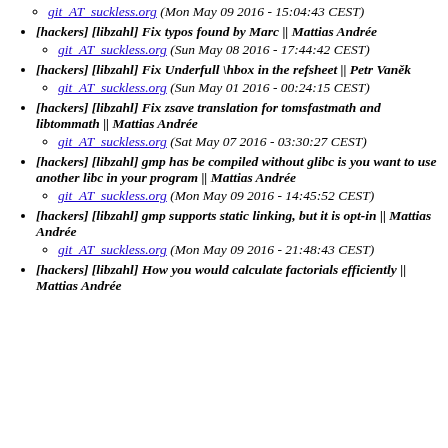git_AT_suckless.org (Mon May 09 2016 - 15:04:43 CEST)
[hackers] [libzahl] Fix typos found by Marc || Mattias Andrée
git_AT_suckless.org (Sun May 08 2016 - 17:44:42 CEST)
[hackers] [libzahl] Fix Underfull \hbox in the refsheet || Petr VanÄ›k
git_AT_suckless.org (Sun May 01 2016 - 00:24:15 CEST)
[hackers] [libzahl] Fix zsave translation for tomsfastmath and libtommath || Mattias Andrée
git_AT_suckless.org (Sat May 07 2016 - 03:30:27 CEST)
[hackers] [libzahl] gmp has be compiled without glibc is you want to use another libc in your program || Mattias Andrée
git_AT_suckless.org (Mon May 09 2016 - 14:45:52 CEST)
[hackers] [libzahl] gmp supports static linking, but it is opt-in || Mattias Andrée
git_AT_suckless.org (Mon May 09 2016 - 21:48:43 CEST)
[hackers] [libzahl] How you would calculate factorials efficiently || Mattias Andrée